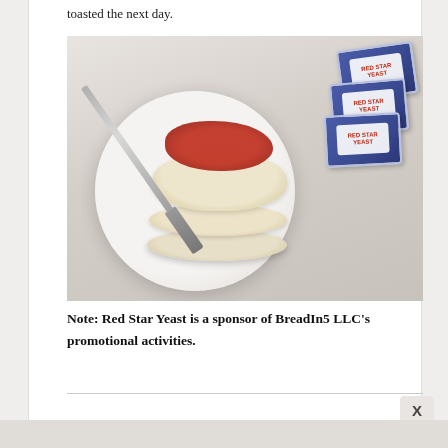toasted the next day.
[Figure (photo): English muffins stacked on a plate with jam and a knife, next to Red Star Yeast packets]
Note: Red Star Yeast is a sponsor of BreadIn5 LLC’s promotional activities.